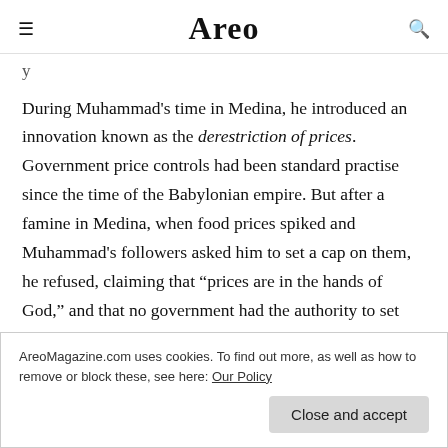Areo
During Muhammad's time in Medina, he introduced an innovation known as the derestriction of prices. Government price controls had been standard practise since the time of the Babylonian empire. But after a famine in Medina, when food prices spiked and Muhammad's followers asked him to set a cap on them, he refused, claiming that “prices are in the hands of God,” and that no government had the authority to set
AreoMagazine.com uses cookies. To find out more, as well as how to remove or block these, see here: Our Policy